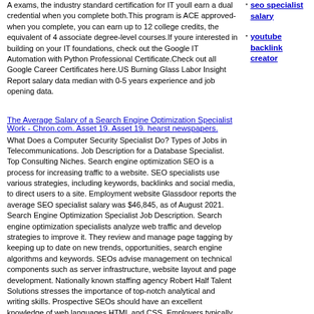A exams, the industry standard certification for IT youll earn a dual credential when you complete both.This program is ACE approved-when you complete, you can earn up to 12 college credits, the equivalent of 4 associate degree-level courses.If youre interested in building on your IT foundations, check out the Google IT Automation with Python Professional Certificate.Check out all Google Career Certificates here.US Burning Glass Labor Insight Report salary data median with 0-5 years experience and job opening data.
seo specialist salary
youtube backlink creator
The Average Salary of a Search Engine Optimization Specialist Work - Chron.com. Asset 19. Asset 19. hearst newspapers.
What Does a Computer Security Specialist Do? Types of Jobs in Telecommunications. Job Description for a Database Specialist. Top Consulting Niches. Search engine optimization SEO is a process for increasing traffic to a website. SEO specialists use various strategies, including keywords, backlinks and social media, to direct users to a site. Employment website Glassdoor reports the average SEO specialist salary was $46,845, as of August 2021. Search Engine Optimization Specialist Job Description. Search engine optimization specialists analyze web traffic and develop strategies to improve it. They review and manage page tagging by keeping up to date on new trends, opportunities, search engine algorithms and keywords. SEOs advise management on technical components such as server infrastructure, website layout and page development. Nationally known staffing agency Robert Half Talent Solutions stresses the importance of top-notch analytical and writing skills. Prospective SEOs should have an excellent knowledge of web languages HTML and CSS. Employers typically prefer candidates with a bachelor's degree and experience in web content development and search engine tools.
SEO specialist job profile Prospects.ac.uk